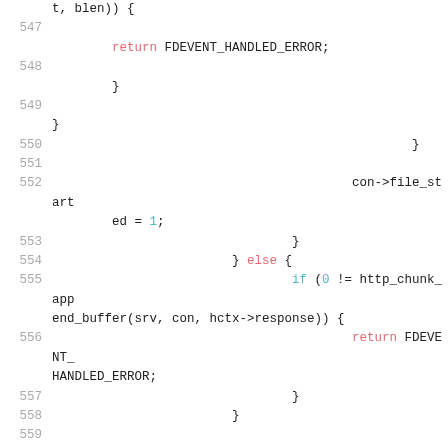[Figure (screenshot): Source code listing lines 547-561 of a C file showing lighttpd HTTP chunked transfer handling. Code includes return statements, conditional blocks, http_chunk_append_buffer call, FDEVENT_HANDLED_ERROR return, #if 0 preprocessor directive, and log_error_write call.]